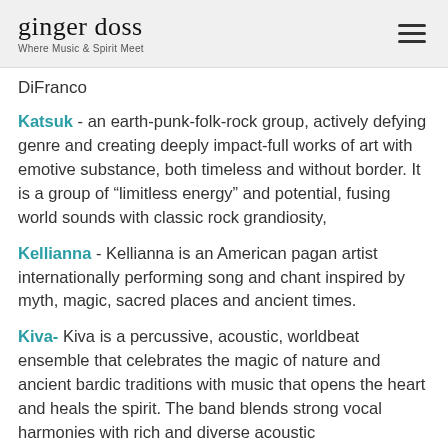ginger doss — Where Music & Spirit Meet
DiFranco
Katsuk - an earth-punk-folk-rock group, actively defying genre and creating deeply impact-full works of art with emotive substance, both timeless and without border. It is a group of “limitless energy” and potential, fusing world sounds with classic rock grandiosity,
Kellianna - Kellianna is an American pagan artist internationally performing song and chant inspired by myth, magic, sacred places and ancient times.
Kiva- Kiva is a percussive, acoustic, worldbeat ensemble that celebrates the magic of nature and ancient bardic traditions with music that opens the heart and heals the spirit. The band blends strong vocal harmonies with rich and diverse acoustic